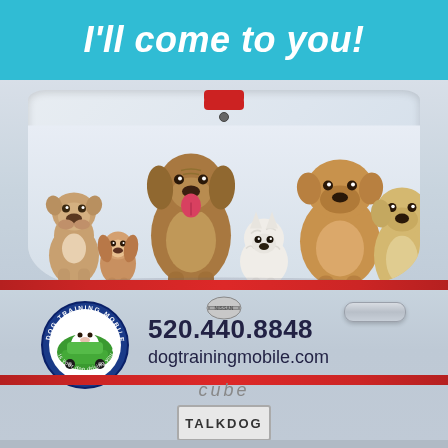I'll come to you!
[Figure (photo): Rear view of a Nissan Cube vehicle wrapped with dog training advertisement. The rear window shows multiple dog breeds (bulldog, spaniel, bloodhound, westie, mastiff, labrador). Lower body shows Dog Training Mobile circular logo, phone number 520.440.8848, website dogtrainingmobile.com, Nissan emblem, door handle, 'cube' script badge, and license plate reading TALKDOG.]